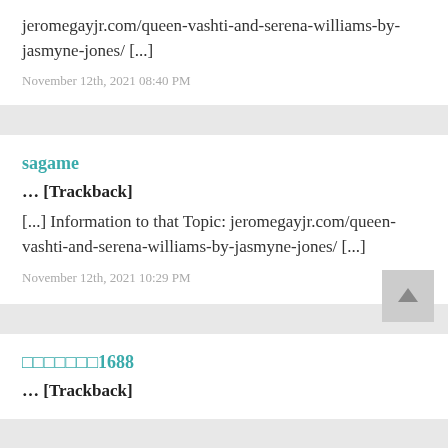jeromegayjr.com/queen-vashti-and-serena-williams-by-jasmyne-jones/ [...]
November 12th, 2021 08:40 PM
sagame
... [Trackback]
[...] Information to that Topic: jeromegayjr.com/queen-vashti-and-serena-williams-by-jasmyne-jones/ [...]
November 12th, 2021 10:29 PM
□□□□□□□1688
... [Trackback]